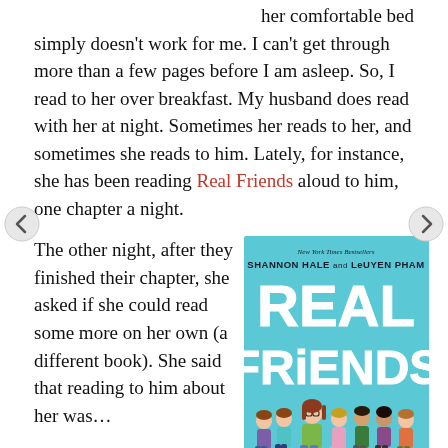her comfortable bed simply doesn't work for me. I can't get through more than a few pages before I am asleep. So, I read to her over breakfast. My husband does read with her at night. Sometimes her reads to her, and sometimes she reads to him. Lately, for instance, she has been reading Real Friends aloud to him, one chapter a night.
The other night, after they finished their chapter, she asked if she could read some more on her own (a different book). She said that reading to him about her was…
[Figure (illustration): Book cover of 'Real Friends' by Shannon Hale and LeUyen Pham, New York Times Bestsellers. Light blue background with large white bold text 'REAL FRIENDS' and illustrated cartoon characters of children/girls standing together.]